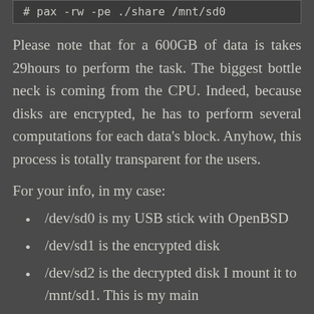# pax -rw -pe ./share /mnt/sd0
Please note that for a 600GB of data is takes 29hours to perform the task. The biggest bottle neck is coming from the CPU. Indeed, because disks are encrypted, he has to perform several computations for each data's block. Anyhow, this process is totally transparent for the users.
For your info, in my case:
/dev/sd0 is my USB stick with OpenBSD
/dev/sd1 is the encrypted disk
/dev/sd2 is the decrypted disk I mount it to /mnt/sd1. This is my main